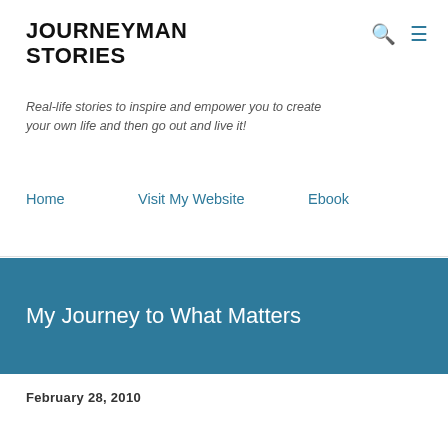JOURNEYMAN STORIES
Real-life stories to inspire and empower you to create your own life and then go out and live it!
Home
Visit My Website
Ebook
My Journey to What Matters
February 28, 2010